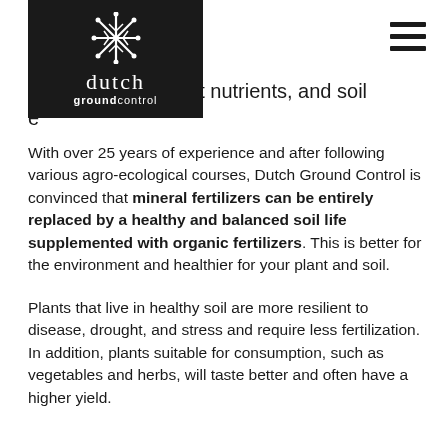[Figure (logo): Dutch Ground Control logo — white snowflake/plant icon above lowercase 'dutch' in serif font, with 'groundcontrol' in sans-serif below, on a black square background]
p… plant nutrients, and soil e…
With over 25 years of experience and after following various agro-ecological courses, Dutch Ground Control is convinced that mineral fertilizers can be entirely replaced by a healthy and balanced soil life supplemented with organic fertilizers. This is better for the environment and healthier for your plant and soil.
Plants that live in healthy soil are more resilient to disease, drought, and stress and require less fertilization. In addition, plants suitable for consumption, such as vegetables and herbs, will taste better and often have a higher yield.